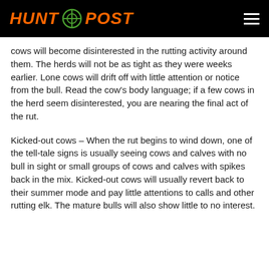HUNT POST
cows will become disinterested in the rutting activity around them. The herds will not be as tight as they were weeks earlier. Lone cows will drift off with little attention or notice from the bull. Read the cow’s body language; if a few cows in the herd seem disinterested, you are nearing the final act of the rut.
Kicked-out cows – When the rut begins to wind down, one of the tell-tale signs is usually seeing cows and calves with no bull in sight or small groups of cows and calves with spikes back in the mix. Kicked-out cows will usually revert back to their summer mode and pay little attentions to calls and other rutting elk. The mature bulls will also show little to no interest.